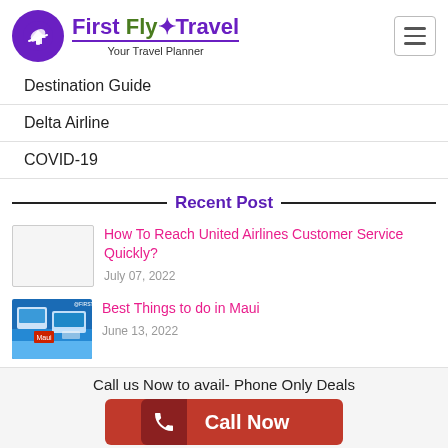[Figure (logo): First Fly Travel logo — purple circle with white airplane icon, text 'First Fly Travel' in purple with 'Fly' in green, subtitle 'Your Travel Planner']
Destination Guide
Delta Airline
COVID-19
Recent Post
[Figure (other): Blank white thumbnail placeholder for United Airlines article]
How To Reach United Airlines Customer Service Quickly?
July 07, 2022
[Figure (photo): Thumbnail image for Best Things to do in Maui article — blue/travel themed image]
Best Things to do in Maui
June 13, 2022
Call us Now to avail- Phone Only Deals
Call Now